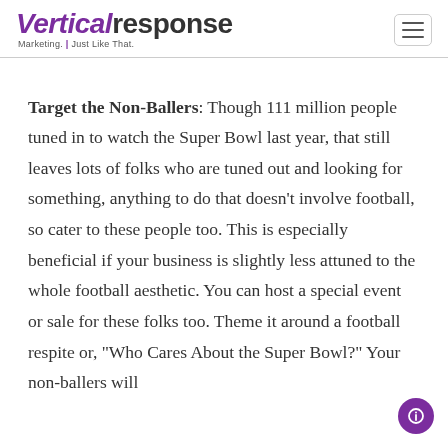VerticalResponse Marketing. Just Like That.
Target the Non-Ballers: Though 111 million people tuned in to watch the Super Bowl last year, that still leaves lots of folks who are tuned out and looking for something, anything to do that doesn't involve football, so cater to these people too. This is especially beneficial if your business is slightly less attuned to the whole football aesthetic. You can host a special event or sale for these folks too. Theme it around a football respite or, "Who Cares About the Super Bowl?" Your non-ballers will